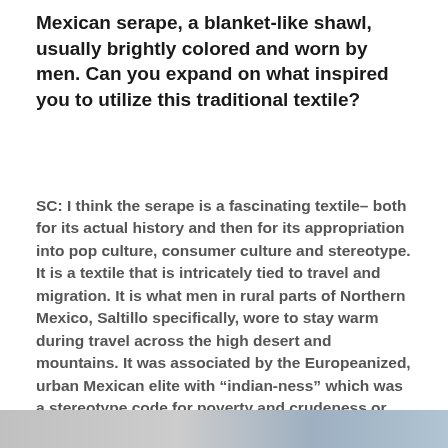Mexican serape, a blanket-like shawl, usually brightly colored and worn by men. Can you expand on what inspired you to utilize this traditional textile?
SC: I think the serape is a fascinating textile– both for its actual history and then for its appropriation into pop culture, consumer culture and stereotype. It is a textile that is intricately tied to travel and migration. It is what men in rural parts of Northern Mexico, Saltillo specifically, wore to stay warm during travel across the high desert and mountains. It was associated by the Europeanized, urban Mexican elite with “indian-ness” which was a stereotype code for poverty and crudeness or „uncivilized.”
[Figure (photo): Partial bottom strip of an image, showing a gray and blue gradient textile or landscape.]